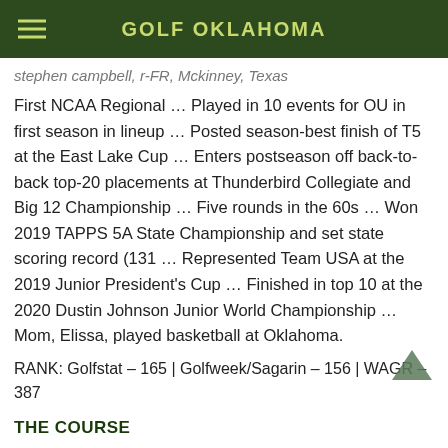GOLF OKLAHOMA
stephen campbell, r-FR, Mckinney, Texas
First NCAA Regional … Played in 10 events for OU in first season in lineup … Posted season-best finish of T5 at the East Lake Cup … Enters postseason off back-to-back top-20 placements at Thunderbird Collegiate and Big 12 Championship … Five rounds in the 60s … Won 2019 TAPPS 5A State Championship and set state scoring record (131 … Represented Team USA at the 2019 Junior President's Cup … Finished in top 10 at the 2020 Dustin Johnson Junior World Championship … Mom, Elissa, played basketball at Oklahoma.
RANK: Golfstat – 165 | Golfweek/Sagarin – 156 | WAGR – 387
THE COURSE